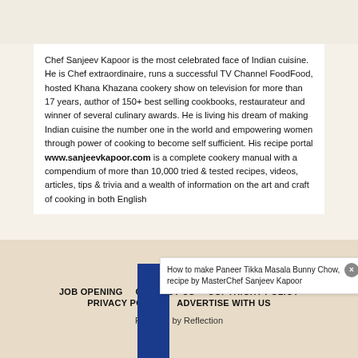Chef Sanjeev Kapoor is the most celebrated face of Indian cuisine. He is Chef extraordinaire, runs a successful TV Channel FoodFood, hosted Khana Khazana cookery show on television for more than 17 years, author of 150+ best selling cookbooks, restaurateur and winner of several culinary awards. He is living his dream of making Indian cuisine the number one in the world and empowering women through power of cooking to become self sufficient. His recipe portal www.sanjeevkapoor.com is a complete cookery manual with a compendium of more than 10,000 tried & tested recipes, videos, articles, tips & trivia and a wealth of information on the art and craft of cooking in both English and Hindi.
[Figure (screenshot): Featured Recipes ribbon/tab on left side; tooltip popup showing 'How to make Paneer Tikka Masala Bunny Chow, recipe by MasterChef Sanjeev Kapoor' with close button]
JOB OPENING   CONTACT US   COPYRIGHT POLICY   PRIVACY POLICY   ADVERTISE WITH US   Powered by Reflection